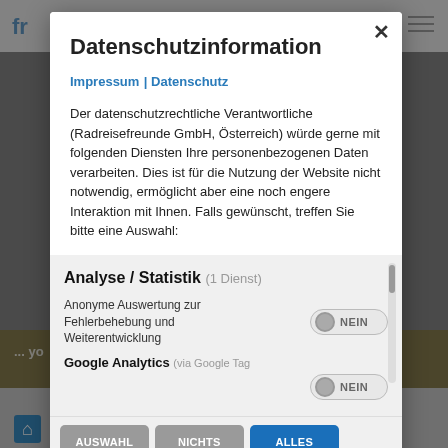[Figure (screenshot): Website background page partially visible behind modal overlay, showing logo 'fr' in blue on white top bar, golden/olive banner and grey bottom navigation area]
Datenschutzinformation
Impressum | Datenschutz
Der datenschutzrechtliche Verantwortliche (Radreisefreunde GmbH, Österreich) würde gerne mit folgenden Diensten Ihre personenbezogenen Daten verarbeiten. Dies ist für die Nutzung der Website nicht notwendig, ermöglicht aber eine noch engere Interaktion mit Ihnen. Falls gewünscht, treffen Sie bitte eine Auswahl:
Analyse / Statistik (1 Dienst)
Anonyme Auswertung zur Fehlerbehebung und Weiterentwicklung
Google Analytics (via Google Tag
AUSWAHL AKZEPTIEREN | NICHTS AKZEPTIEREN | ALLES AKZEPTIEREN